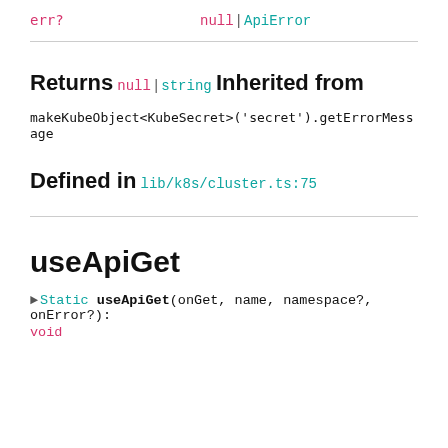| param | type |
| --- | --- |
| err? | null | ApiError |
Returns
null | string
Inherited from
makeKubeObject<KubeSecret>('secret').getErrorMessage
Defined in
lib/k8s/cluster.ts:75
useApiGet
▸ Static useApiGet(onGet, name, namespace?, onError?): void